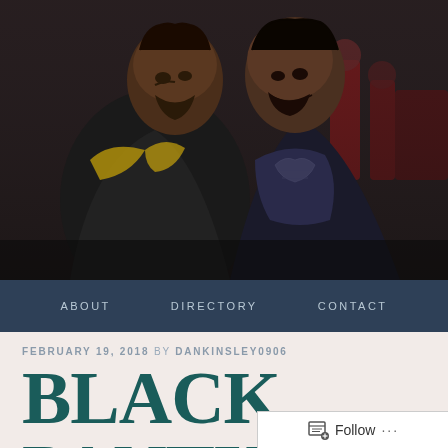[Figure (photo): Two men facing each other in a tense confrontation scene from the Black Panther movie. The man on the left wears a gold and dark armored vest, the man on the right wears a dark purple/blue jacket. Background shows red-clad figures.]
ABOUT   DIRECTORY   CONTACT
FEBRUARY 19, 2018 BY DANKINSLEY0906
BLACK PANTHER REVIEW: BLACK